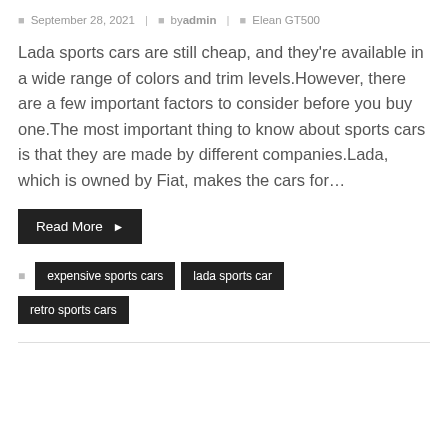September 28, 2021 | by admin | Elean GT500
Lada sports cars are still cheap, and they're available in a wide range of colors and trim levels.However, there are a few important factors to consider before you buy one.The most important thing to know about sports cars is that they are made by different companies.Lada, which is owned by Fiat, makes the cars for…
Read More →
expensive sports cars
lada sports car
retro sports cars